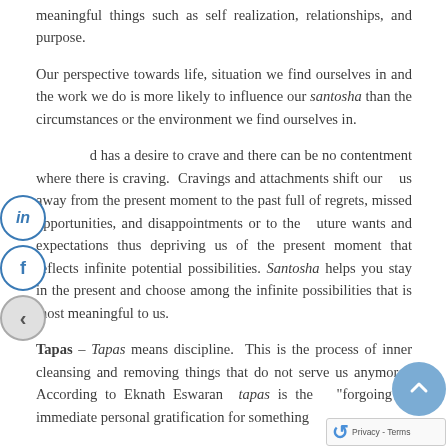meaningful things such as self realization, relationships, and purpose.
Our perspective towards life, situation we find ourselves in and the work we do is more likely to influence our santosha than the circumstances or the environment we find ourselves in.
...d has a desire to crave and there can be no contentment where there is craving. Cravings and attachments shift our ...us away from the present moment to the past full of regrets, missed opportunities, and disappointments or to the ...uture wants and expectations thus depriving us of the present moment that reflects infinite potential possibilities. Santosha helps you stay in the present and choose among the infinite possibilities that is most meaningful to us.
Tapas – Tapas means discipline. This is the process of inner cleansing and removing things that do not serve us anymore. According to Eknath Eswaran tapas is the "forgoing of immediate personal gratification for something